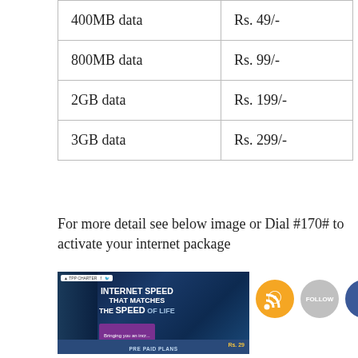| Data Plan | Price |
| --- | --- |
| 400MB data | Rs. 49/- |
| 800MB data | Rs. 99/- |
| 2GB data | Rs. 199/- |
| 3GB data | Rs. 299/- |
For more detail see below image or Dial #170# to activate your internet package
[Figure (photo): Telecom advertisement showing a man with a smartphone and text 'INTERNET SPEED THAT MATCHES THE SPEED OF LIFE' with social media icons (RSS, Follow, Facebook, Twitter)]